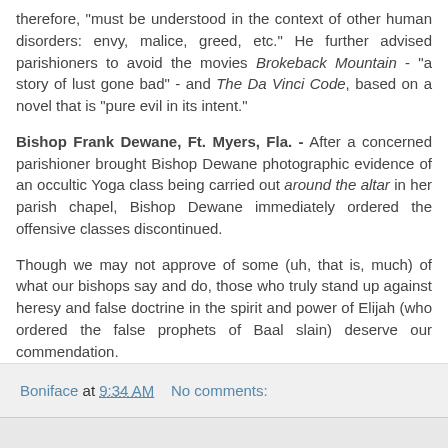therefore, "must be understood in the context of other human disorders: envy, malice, greed, etc." He further advised parishioners to avoid the movies Brokeback Mountain - "a story of lust gone bad" - and The Da Vinci Code, based on a novel that is "pure evil in its intent."
Bishop Frank Dewane, Ft. Myers, Fla. - After a concerned parishioner brought Bishop Dewane photographic evidence of an occultic Yoga class being carried out around the altar in her parish chapel, Bishop Dewane immediately ordered the offensive classes discontinued.
Though we may not approve of some (uh, that is, much) of what our bishops say and do, those who truly stand up against heresy and false doctrine in the spirit and power of Elijah (who ordered the false prophets of Baal slain) deserve our commendation.
Boniface at 9:34 AM   No comments: